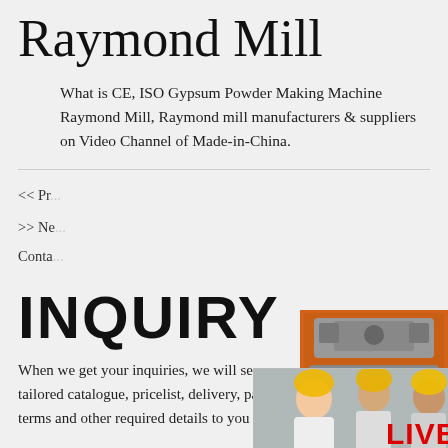Raymond Mill
What is CE, ISO Gypsum Powder Making Machine Raymond Mill, Raymond mill manufacturers & suppliers on Video Channel of Made-in-China.
<< Pr...
>> Ne... Conta...
INQUIRY
When we get your inquiries, we will se... tailored catalogue, pricelist, delivery, pa... terms and other required details to you by email
[Figure (photo): Live Chat popup overlay with workers in hard hats, LIVE CHAT text in red, Click for a Free Consultation, Chat now (red button) and Chat later (dark button)]
[Figure (infographic): Right sidebar with orange background showing industrial machinery images, Enjoy 3% discount banner in yellow, Click to Chat in yellow, Enquiry button, limingjlmofen@sina.com email]